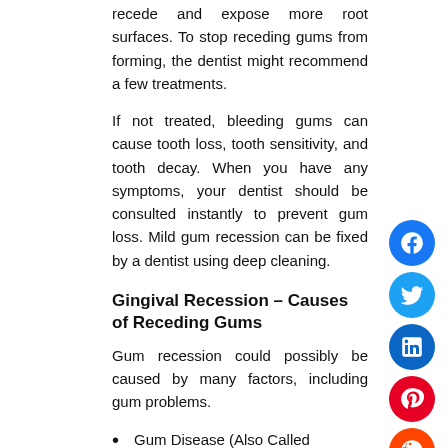recede and expose more root surfaces. To stop receding gums from forming, the dentist might recommend a few treatments.
If not treated, bleeding gums can cause tooth loss, tooth sensitivity, and tooth decay. When you have any symptoms, your dentist should be consulted instantly to prevent gum loss. Mild gum recession can be fixed by a dentist using deep cleaning.
Gingival Recession – Causes of Receding Gums
Gum recession could possibly be caused by many factors, including gum problems.
Gum Disease (Also Called Gingivitis)
Poor Dental Hygiene
Hardened Oral Plaque & Tartar
A Misaligned Bite
Gum disease: Family history
Aggressive tooth brushing
Missing Teeth